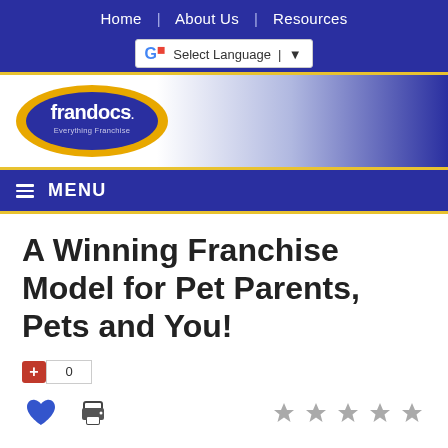Home | About Us | Resources
[Figure (logo): Frandocs logo — blue oval with gold outer ring, white text 'frandocs.' and smaller text 'Everything Franchise']
MENU
A Winning Franchise Model for Pet Parents, Pets and You!